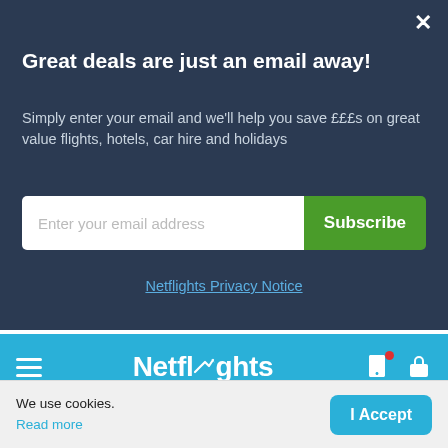Great deals are just an email away!
Simply enter your email and we'll help you save £££s on great value flights, hotels, car hire and holidays
[Figure (screenshot): Email subscription form with text input field labeled 'Enter your email address' and a green 'Subscribe' button]
Netflights Privacy Notice
[Figure (logo): Netflights navigation bar with hamburger menu, Netflights logo with plane icon, phone icon with red dot, and shopping bag icon]
[Figure (infographic): British Travel Awards Winners 'Best Flight Booking Website' banner with gold trophy icon]
Cheap flights from Glasgow to Chittagong
We use cookies.
Read more
[Figure (screenshot): Cookie consent bar with 'I Accept' button]